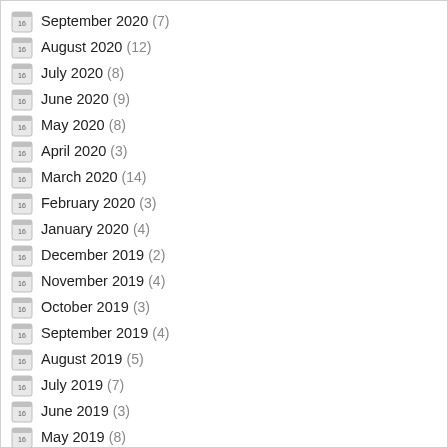September 2020 (7)
August 2020 (12)
July 2020 (8)
June 2020 (9)
May 2020 (8)
April 2020 (3)
March 2020 (14)
February 2020 (3)
January 2020 (4)
December 2019 (2)
November 2019 (4)
October 2019 (3)
September 2019 (4)
August 2019 (5)
July 2019 (7)
June 2019 (3)
May 2019 (8)
April 2019 (3)
March 2019 (11)
February 2019 (3)